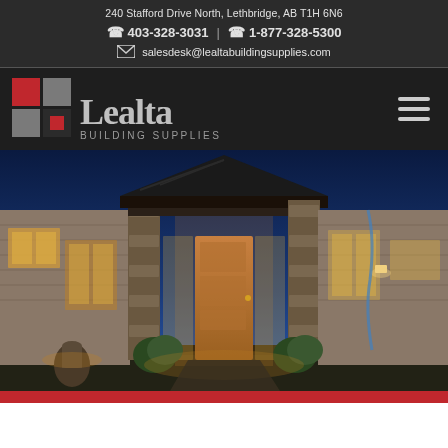240 Stafford Drive North, Lethbridge, AB T1H 6N6
403-328-3031  |  1-877-328-5300
salesdesk@lealtabuildingsupplies.com
[Figure (logo): Lealta Building Supplies logo with red and grey square tiles and text]
[Figure (photo): Modern home exterior at dusk with stone pillars, wooden front door, and landscape lighting]